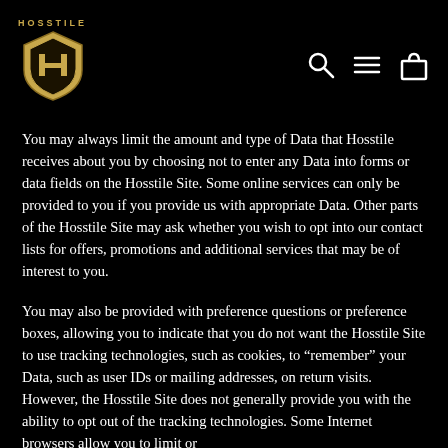HOSSTILE [logo with shield]
You may always limit the amount and type of Data that Hosstile receives about you by choosing not to enter any Data into forms or data fields on the Hosstile Site. Some online services can only be provided to you if you provide us with appropriate Data. Other parts of the Hosstile Site may ask whether you wish to opt into our contact lists for offers, promotions and additional services that may be of interest to you.
You may also be provided with preference questions or preference boxes, allowing you to indicate that you do not want the Hosstile Site to use tracking technologies, such as cookies, to “remember” your Data, such as user IDs or mailing addresses, on return visits. However, the Hosstile Site does not generally provide you with the ability to opt out of the tracking technologies. Some Internet browsers allow you to limit or